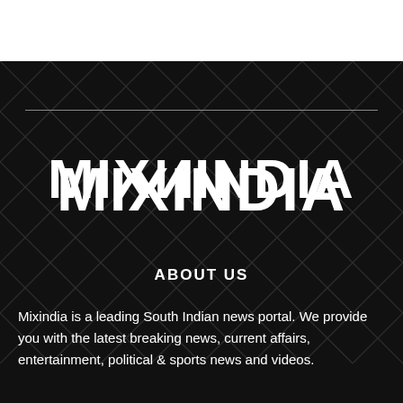[Figure (logo): MIXINDIA logo in large bold white text on dark background with architectural lattice pattern]
ABOUT US
Mixindia is a leading South Indian news portal. We provide you with the latest breaking news, current affairs, entertainment, political & sports news and videos.